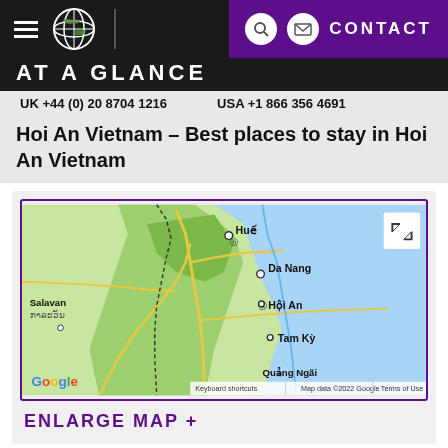AT A GLANCE | CONTACT | UK +44 (0) 20 8704 1216 | USA +1 866 356 4691
Hoi An Vietnam – Best places to stay in Hoi An Vietnam
[Figure (map): Google Maps showing central Vietnam coastline including Huế, Da Nang, Hội An, Tam Kỳ, and Quảng Ngãi. Also shows Salavan (Laos) to the west. Map data ©2022 Google.]
ENLARGE MAP +
Chat to an Expert